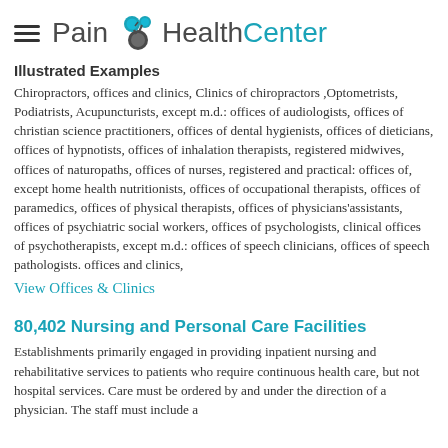Pain HealthCenter
Illustrated Examples
Chiropractors, offices and clinics, Clinics of chiropractors ,Optometrists, Podiatrists, Acupuncturists, except m.d.: offices of audiologists, offices of christian science practitioners, offices of dental hygienists, offices of dieticians, offices of hypnotists, offices of inhalation therapists, registered midwives, offices of naturopaths, offices of nurses, registered and practical: offices of, except home health nutritionists, offices of occupational therapists, offices of paramedics, offices of physical therapists, offices of physicians'assistants, offices of psychiatric social workers, offices of psychologists, clinical offices of psychotherapists, except m.d.: offices of speech clinicians, offices of speech pathologists. offices and clinics,
View Offices & Clinics
80,402 Nursing and Personal Care Facilities
Establishments primarily engaged in providing inpatient nursing and rehabilitative services to patients who require continuous health care, but not hospital services. Care must be ordered by and under the direction of a physician. The staff must include a